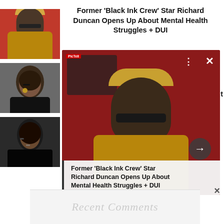[Figure (photo): Thumbnail of man with cap and glasses against red background]
[Figure (photo): Thumbnail of woman looking to the side]
[Figure (photo): Thumbnail of woman with dark background]
Former ‘Black Ink Crew’ Star Richard Duncan Opens Up About Mental Health Struggles + DUI
[Figure (screenshot): Video player showing Richard Duncan from Black Ink Crew with title overlay. Controls visible including dots menu, X close button, and right arrow. Caption bar reads: Former 'Black Ink Crew' Star Richard Duncan Opens Up About Mental Health Struggles + DUI]
t
×
[Figure (screenshot): Bottom advertisement bar with watermark text Recent Comments]